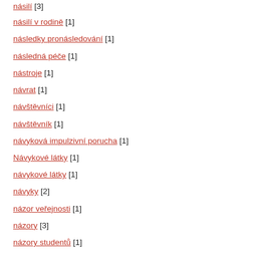násilí [3]
násilí v rodině [1]
následky pronásledování [1]
následná péče [1]
nástroje [1]
návrat [1]
návštěvníci [1]
návštěvník [1]
návyková impulzivní porucha [1]
Návykové látky [1]
návykové látky [1]
návyky [2]
názor veřejnosti [1]
názory [3]
názory studentů [1]